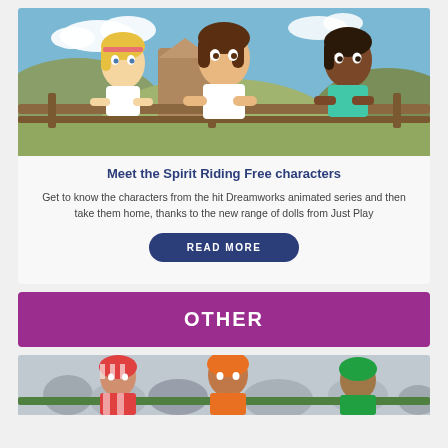[Figure (illustration): Animated scene from Spirit Riding Free showing three cartoon characters (a blonde girl, a brunette girl, and a dark-skinned girl) leaning on a wooden fence rail with a scenic background.]
Meet the Spirit Riding Free characters
Get to know the characters from the hit Dreamworks animated series and then take them home, thanks to the new range of dolls from Just Play
READ MORE
OTHER
[Figure (photo): Photo of jockeys at a horse racing event, showing people in colorful racing silks and helmets with a crowd in the background.]